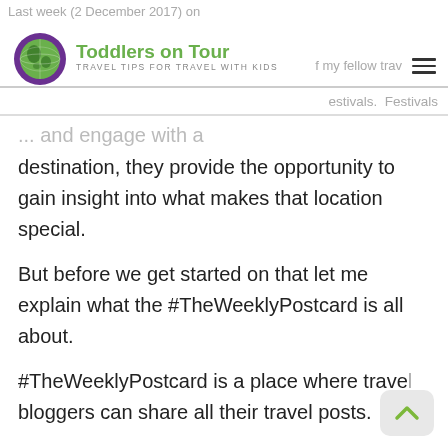Last week (2 December 2017) on
[Figure (logo): Toddlers on Tour logo with green globe icon and text 'Toddlers on Tour — Travel Tips for Travel with Kids']
...engage with a destination, they provide the opportunity to gain insight into what makes that location special.
But before we get started on that let me explain what the #TheWeeklyPostcard is all about.
#TheWeeklyPostcard is a place where travel bloggers can share all their travel posts. You